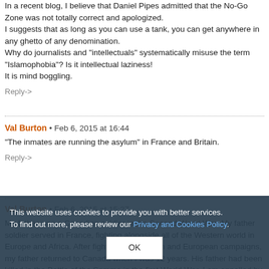In a recent blog, I believe that Daniel Pipes admitted that the No-Go Zone was not totally correct and apologized. I suggests that as long as you can use a tank, you can get anywhere in any ghetto of any denomination. Why do journalists and "intellectuals" systematically misuse the term "Islamophobia"? Is it intellectual laziness! It is mind boggling.
Reply->
Val Burton • Feb 6, 2015 at 16:44
"The inmates are running the asylum" in France and Britain.
Reply->
Val Burton • Feb 6, 2015 at 15:27
My father was a Canadian soldier in the Second World War. My father soldier served in France, fighting alongside all of the Western world in Europe and Africa. After fighting in the Italian and European campaigns, my father returned to Canada when I was 12 years. His father had been killed in the Battle of the Somme in the first World War. I am appalled by the treatment and lack of concern for the young girls in
This website uses cookies to provide you with better services. To find out more, please review our Privacy and Cookies Policy.